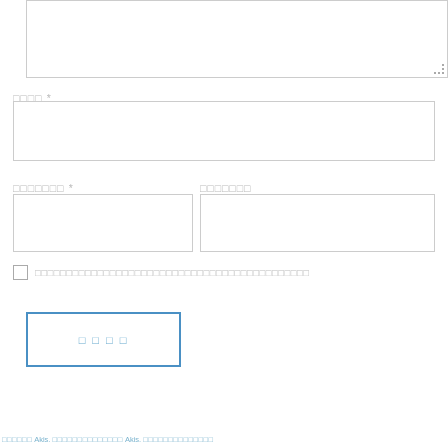[Figure (screenshot): Large textarea input box at top of form]
□□□□ *
[Figure (screenshot): Single-line input field for □□□□]
□□□□□□□ *
□□□□□□□
[Figure (screenshot): Two side-by-side input boxes for □□□□□□□ fields]
□□□□□□□□□□□□□□□□□□□□□□□□□□□□□□□□□□□□□□□□□
[Figure (screenshot): Submit button with blue border and text □□□□]
□□□□□□ Akis. □□□□□□□□□□□□□□ Akis. □□□□□□□□□□□□□□